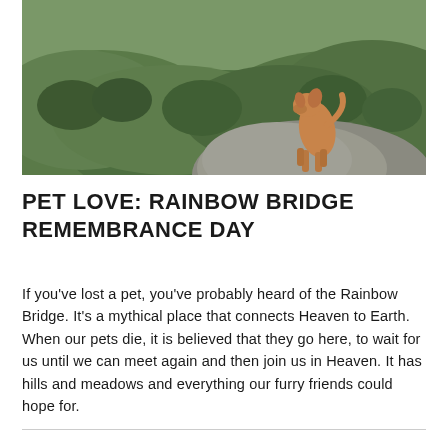[Figure (photo): A dog standing on a rock overlooking green hills and valleys in the background]
PET LOVE: RAINBOW BRIDGE REMEMBRANCE DAY
If you've lost a pet, you've probably heard of the Rainbow Bridge. It's a mythical place that connects Heaven to Earth. When our pets die, it is believed that they go here, to wait for us until we can meet again and then join us in Heaven. It has hills and meadows and everything our furry friends could hope for.